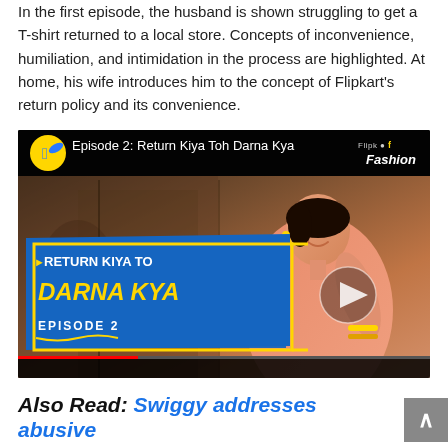In the first episode, the husband is shown struggling to get a T-shirt returned to a local store. Concepts of inconvenience, humiliation, and intimidation in the process are highlighted. At home, his wife introduces him to the concept of Flipkart's return policy and its convenience.
[Figure (screenshot): YouTube-style video thumbnail for Flipkart Fashion Episode 2: Return Kiya Toh Darna Kya. Shows a woman in a pink saree. Blue banner overlay reads 'RETURN KIYA TO DARNA KYA EPISODE 2' with a play button in the center.]
Also Read: Swiggy addresses abusive